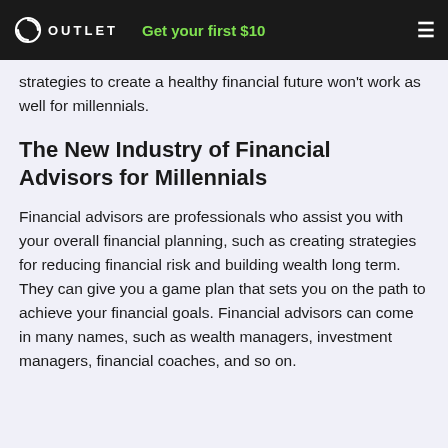OUTLET | Get your first $10
strategies to create a healthy financial future won't work as well for millennials.
The New Industry of Financial Advisors for Millennials
Financial advisors are professionals who assist you with your overall financial planning, such as creating strategies for reducing financial risk and building wealth long term. They can give you a game plan that sets you on the path to achieve your financial goals. Financial advisors can come in many names, such as wealth managers, investment managers, financial coaches, and so on.